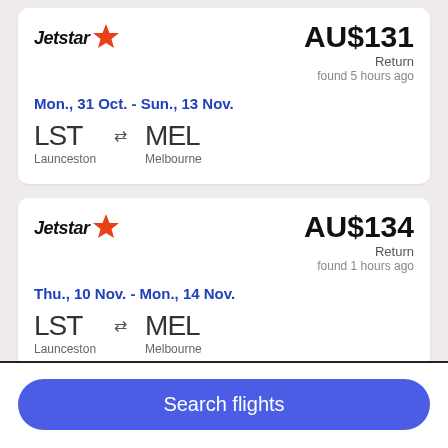[Figure (logo): Jetstar logo with orange star, first card]
AU$131 Return found 5 hours ago
Mon., 31 Oct. - Sun., 13 Nov.
LST ⇄ MEL
Launceston   Melbourne
[Figure (logo): Jetstar logo with orange star, second card]
AU$134 Return found 1 hours ago
Thu., 10 Nov. - Mon., 14 Nov.
LST ⇄ MEL
Launceston   Melbourne
Search flights